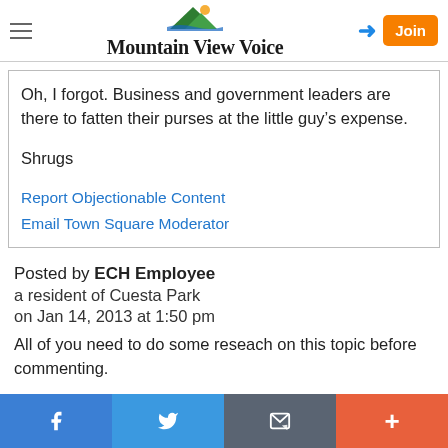Mountain View Voice
Oh, I forgot. Business and government leaders are there to fatten their purses at the little guy's expense.

Shrugs
Report Objectionable Content
Email Town Square Moderator
Posted by ECH Employee
a resident of Cuesta Park
on Jan 14, 2013 at 1:50 pm
All of you need to do some reseach on this topic before commenting.